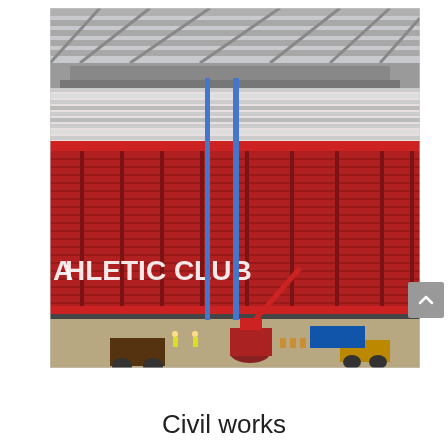[Figure (photo): Construction photo of Athletic Club stadium interior showing red seating stands with 'ATHLETIC CLUB' text visible, cranes and construction machinery on the pitch area, roof structure being installed with steel beams visible overhead, workers and equipment on the ground level.]
Civil works